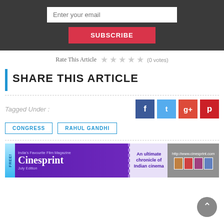[Figure (screenshot): Email subscription bar with input field and red Subscribe button on dark background]
Rate This Article ☆ ☆ ☆ ☆ ☆ (0 votes)
SHARE THIS ARTICLE
Tagged Under :
[Figure (infographic): Social share icons: Facebook (f), Twitter (bird), Google+ (g+), Pinterest (p)]
CONGRESS
RAHUL GANDHI
[Figure (infographic): Cinesprint magazine banner ad - India's Favourite Film Magazine, An ultimate chronicle of Indian cinema, July Edition, http://www.cinesprint.com]